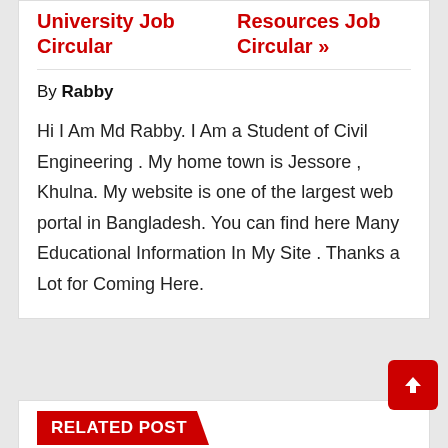University Job Circular
Resources Job Circular »
By Rabby
Hi I Am Md Rabby. I Am a Student of Civil Engineering . My home town is Jessore , Khulna. My website is one of the largest web portal in Bangladesh. You can find here Many Educational Information In My Site . Thanks a Lot for Coming Here.
RELATED POST